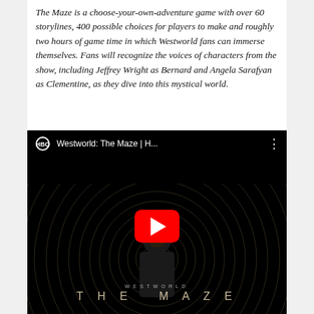The Maze is a choose-your-own-adventure game with over 60 storylines, 400 possible choices for players to make and roughly two hours of game time in which Westworld fans can immerse themselves. Fans will recognize the voices of characters from the show, including Jeffrey Wright as Bernard and Angela Sarafyan as Clementine, as they dive into this mystical world.
[Figure (screenshot): YouTube embedded video thumbnail for 'Westworld: The Maze | H...' by HBO. Dark background showing a figure with a maze symbol on their head, with a red YouTube play button in the center, and 'WESTWORLD THE MAZE' text at the bottom.]